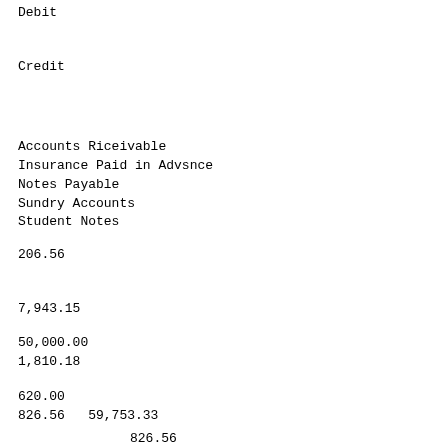Debit
Credit
Accounts Riceivable
Insurance Paid in Advsnce
Notes Payable
Sundry Accounts
Student Notes
206.56
7,943.15
50,000.00
1,810.18
620.00
826.56   59,753.33
826.56